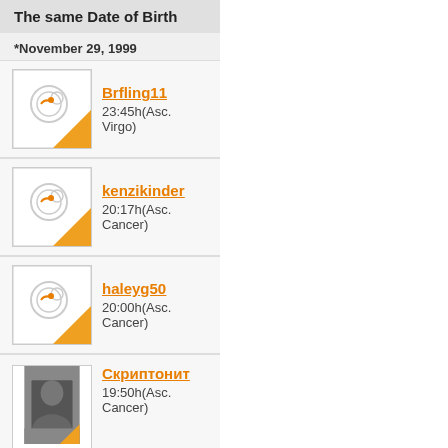The same Date of Birth
*November 29, 1999
Brfling11
23:45h(Asc. Virgo)
kenzikinder
20:17h(Asc. Cancer)
haleyg50
20:00h(Asc. Cancer)
Скриптонит
19:50h(Asc. Cancer)
Breadnbunny
18:45h(Asc. Gemini)
Show all (47) »